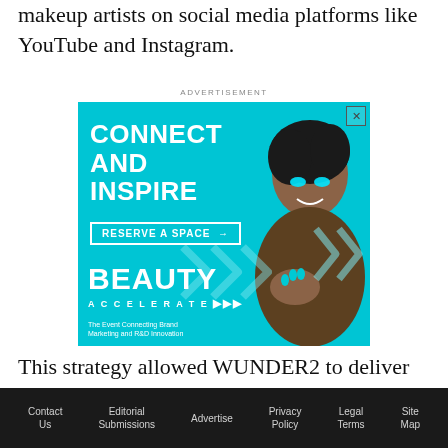makeup artists on social media platforms like YouTube and Instagram.
ADVERTISEMENT
[Figure (photo): Advertisement for Beauty Accelerate event. Cyan/turquoise background with large white text 'CONNECT AND INSPIRE', a 'RESERVE A SPACE' button with arrow, 'BEAUTY ACCELERATE' logo text, tagline 'The Event Connecting Brand Marketing and R&D Innovation', and a photo of a smiling woman with teal eye makeup.]
This strategy allowed WUNDER2 to deliver its
Contact Us   Editorial Submissions   Advertise   Privacy Policy   Legal Terms   Site Map